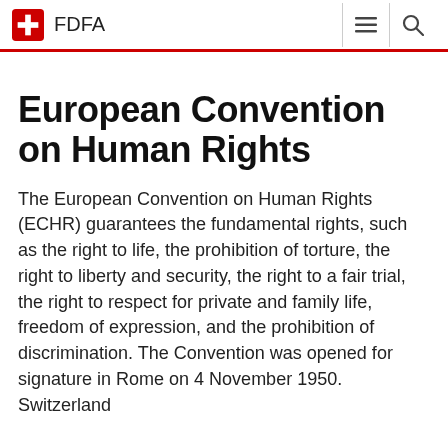FDFA
European Convention on Human Rights
The European Convention on Human Rights (ECHR) guarantees the fundamental rights, such as the right to life, the prohibition of torture, the right to liberty and security, the right to a fair trial, the right to respect for private and family life, freedom of expression, and the prohibition of discrimination. The Convention was opened for signature in Rome on 4 November 1950. Switzerland